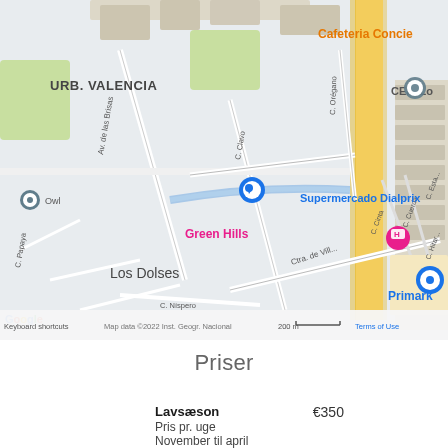[Figure (map): Google Maps screenshot showing Los Dolses area in Spain with Urb. Valencia, Green Hills hotel, Supermercado Dialprix, Primark, and other landmarks. Map data ©2022 Inst. Geogr. Nacional. Scale bar shows 200m. Keyboard shortcuts and Terms of Use visible.]
Priser
| Season | Price |
| --- | --- |
| Lavsæson
Pris pr. uge
November til april | €350 |
| Mellemsæson
Pris pr. uge
April... | €450 |